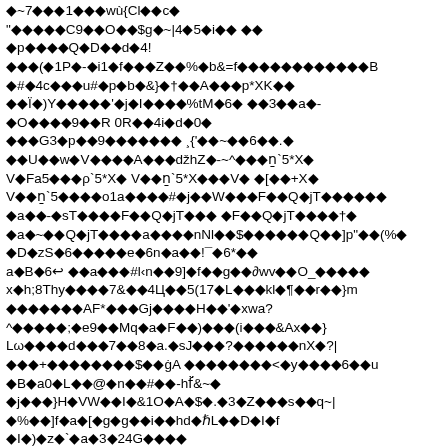◆~7◆◆◆1◆◆◆wù{Cl◆◆c◆
"◆◆◆◆◆C9◆◆O◆◆$g◆~|4◆5◆i◆◆ ◆◆
◆p◆◆◆◆Q◆D◆◆d◆4!
◆◆◆(◆1P◆-◆i1◆f◆◆◆Z◆◆%◆b&=f◆◆◆◆◆◆◆◆◆◆◆◆◆B
◆#◆4c◆◆◆u#◆p◆b◆&}◆†◆◆A◆◆◆p*XK◆◆
◆◆Ï◆)Y◆◆◆◆◆'◆j◆I◆◆◆◆%tM◆6◆ ◆◆3◆◆a◆-
◆O◆◆◆◆9◆◆R 0R◆◆4i◆d◆0◆
◆◆◆G3◆p◆◆9◆◆◆◆◆◆◆ ¸{'◆◆~◆◆6◆◆.◆
◆◆U◆◆w◆V◆◆◆◆A◆◆◆dž hZ◆-~^◆◆◆n`5*X◆
V◆Fa5◆◆◆ρ`5*X◆ V◆◆n`5*X◆◆◆V◆ ◆[◆◆+X◆
V◆◆n`5◆◆◆◆o1a◆◆◆◆#◆j◆◆W◆◆◆F◆◆Q◆jT◆◆◆◆◆◆
◆a◆◆-◆sT◆◆◆◆F◆◆Q◆jT◆◆◆ ◆F◆◆Q◆jT◆◆◆◆†◆
◆a◆~◆◆Q◆jT◆◆◆◆a◆◆◆◆nNl◆◆$◆◆◆◆◆◆Q◆◆]p"◆◆(%◆
◆D◆zS◆6◆◆◆◆◆e◆6n◆a◆◆!¯◆6*◆◆
a◆B◆6↩ ◆◆a◆◆◆#l‹n◆◆9]◆f◆◆g◆◆∂wv◆◆O_◆◆◆◆◆
x◆h;8Thy◆◆◆◆7&◆◆4Ц◆◆5(17◆L◆◆◆kl◆¶◆◆r◆◆}m
◆◆◆◆◆◆◆AF*◆◆◆Gj◆◆◆◆H◆◆'◆xwa?
^◆◆◆◆◆;◆e9◆◆Mq◆a◆F◆◆)◆◆◆(i◆◆◆&Ax◆◆}
Lω◆◆◆◆d◆◆◆7◆◆8◆a.◆sJ◆◆◆?◆◆◆◆◆◆nX◆?|
◆◆◆+◆◆◆◆◆◆◆◆$◆◆ċA ◆◆◆◆◆◆◆◆<◆y◆◆◆◆6◆◆u
◆B◆a0◆L◆◆@◆n◆◆#◆◆-hf̈&~◆
◆j◆◆◆}H◆VW◆◆I◆&1O◆A◆$◆.◆3◆Z◆◆◆s◆◆q~|
◆%◆◆]f◆a◆[◆g◆g◆◆i◆◆hd◆ℏL◆◆D◆I◆f
◆I◆)◆z◆`◆a◆3◆24G◆◆◆◆